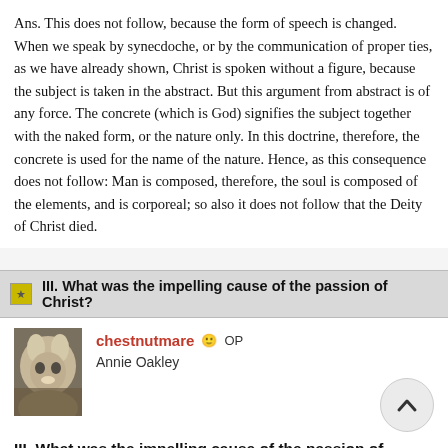Ans. This does not follow, because the form of speech is changed. When we speak by synecdoche, or by the communication of proper ties, as we have already shown, Christ is spoken without a figure, because the subject is taken in the abstract. But this argument from abstract is of any force. The concrete (which is God) signifies the subject together with the naked form, or the nature only. In this doctrine, therefore, the concrete is used for the name of the nature. Hence, as this consequence does not follow: Man is composed, therefore, the soul is composed of the elements, and is corporeal; so also it does not follow that the Deity of Christ died.
III. What was the impelling cause of the passion of Christ?
chestnutmare  OP
Annie Oakley
III. What was the impelling cause of the passion of Christ?
The cause which moved God to give his Son for us was: